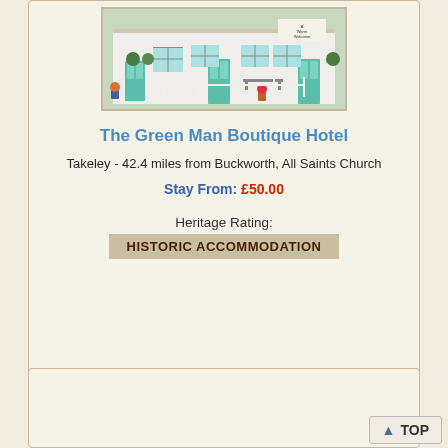[Figure (photo): Photo of The Green Man Boutique Hotel exterior — a white building with teal/green doors and windows, flower pots, benches, and a sign reading 'A Warm Welcome']
The Green Man Boutique Hotel
Takeley - 42.4 miles from Buckworth, All Saints Church
Stay From: £50.00
Heritage Rating:
HISTORIC ACCOMMODATION